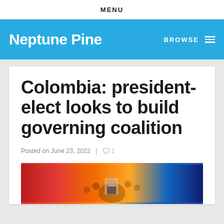MENU
Neptune Pine
BROWSE
Colombia: president-elect looks to build governing coalition
Posted on June 23, 2022
[Figure (photo): Crowd of people at a rally, one person holding up a framed portrait]